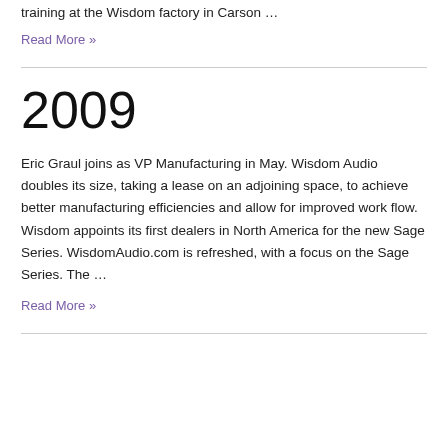training at the Wisdom factory in Carson …
Read More »
2009
Eric Graul joins as VP Manufacturing in May. Wisdom Audio doubles its size, taking a lease on an adjoining space, to achieve better manufacturing efficiencies and allow for improved work flow. Wisdom appoints its first dealers in North America for the new Sage Series. WisdomAudio.com is refreshed, with a focus on the Sage Series. The …
Read More »